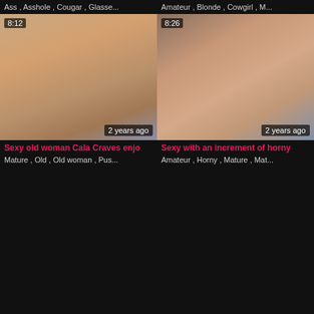Ass , Asshole , Cougar , Glasse...
Amateur , Blonde , Cowgirl , M...
[Figure (photo): Video thumbnail left, duration 8:12, 2 years ago]
[Figure (photo): Video thumbnail right, duration 8:26, 2 years ago]
Sexy old woman Cala Craves enjo
Sexy with an increment of horny
Mature , Old , Old woman , Pus...
Amateur , Horny , Mature , Mat...